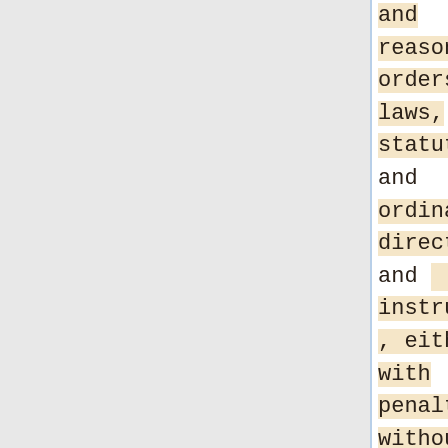and reasonable orders, laws, statutes, and ordinances, directions and instructions, either with penalties or without; so as the same be not repugnant or contrary to this constitution, as they shall judge